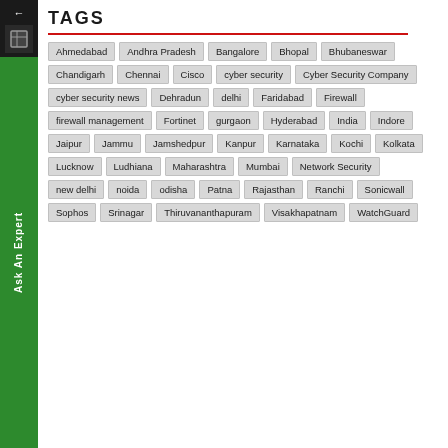TAGS
Ahmedabad
Andhra Pradesh
Bangalore
Bhopal
Bhubaneswar
Chandigarh
Chennai
Cisco
cyber security
Cyber Security Company
cyber security news
Dehradun
delhi
Faridabad
Firewall
firewall management
Fortinet
gurgaon
Hyderabad
India
Indore
Jaipur
Jammu
Jamshedpur
Kanpur
Karnataka
Kochi
Kolkata
Lucknow
Ludhiana
Maharashtra
Mumbai
Network Security
new delhi
noida
odisha
Patna
Rajasthan
Ranchi
Sonicwall
Sophos
Srinagar
Thiruvananthapuram
Visakhapatnam
WatchGuard